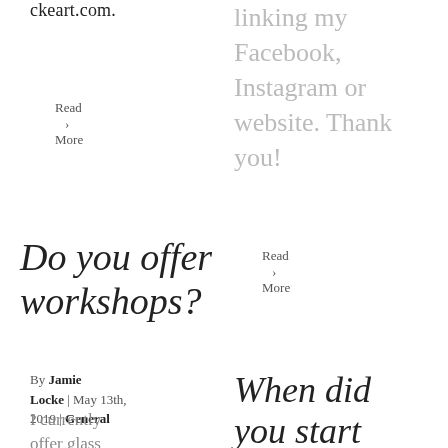ckeart.com.
Read
>
More
Do you offer workshops?
By Jamie Locke | May 13th, 2019 | General
I currently offer glass etching
linking my Facebook, Instagram or website. Thank you!
Read
>
More
When did you start carving